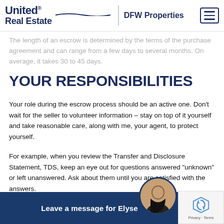United Real Estate | DFW Properties
The length of an escrow is determined by the terms of the purchase agreement and can range from a few days to several months. On average, it takes 30 to 45 days.
YOUR RESPONSIBILITIES
Your role during the escrow process should be an active one. Don't wait for the seller to volunteer information – stay on top of it yourself and take reasonable care, along with me, your agent, to protect yourself.
For example, when you review the Transfer and Disclosure Statement, TDS, keep an eye out for questions answered "unknown" or left unanswered. Ask about them until you are satisfied with the answers.
Let's talk about your specific concerns or plans for the property. Concerned about the open parcel behind the house, you
Leave a message for Elyse